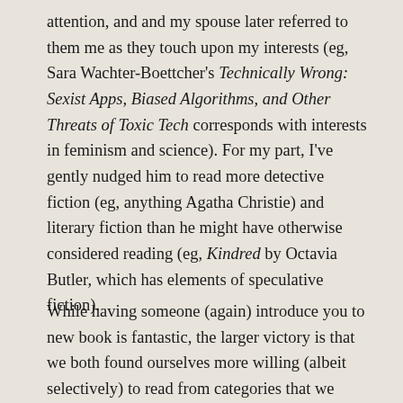attention, and and my spouse later referred to them me as they touch upon my interests (eg, Sara Wachter-Boettcher's Technically Wrong: Sexist Apps, Biased Algorithms, and Other Threats of Toxic Tech corresponds with interests in feminism and science). For my part, I've gently nudged him to read more detective fiction (eg, anything Agatha Christie) and literary fiction than he might have otherwise considered reading (eg, Kindred by Octavia Butler, which has elements of speculative fiction).
While having someone (again) introduce you to new book is fantastic, the larger victory is that we both found ourselves more willing (albeit selectively) to read from categories that we might not otherwise given a chance. In short, we're both a bit more